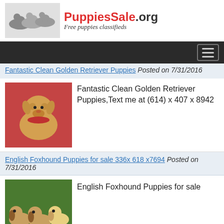PuppiesSale.org — Free puppies classifieds
[Figure (logo): PuppiesSale.org logo with dachshund puppies image and text 'PuppiesSale.org Free puppies classifieds']
Fantastic Clean Golden Retriever Puppies (link, partially visible) Posted on (date)
[Figure (photo): Golden Retriever puppy sitting on red fabric wearing red bandana]
Fantastic Clean Golden Retriever Puppies,Text me at (614) x 407 x 8942
English Foxhound Puppies for sale 336x 618 x7694 Posted on 7/31/2016
[Figure (photo): Three Beagle puppies lying on grass]
English Foxhound Puppies for sale
German Shepherd puppies (214) 307-4892 Posted on 7/31/2016
[Figure (photo): German Shepherd puppy (partially visible)]
German Shepherd puppies 4 puppies for